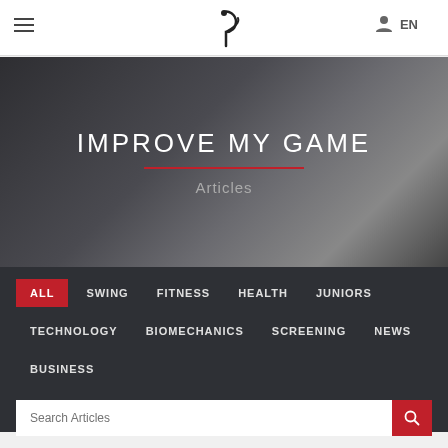Navigation bar with hamburger menu, logo, user icon, and EN language selector
IMPROVE MY GAME
Articles
ALL
SWING
FITNESS
HEALTH
JUNIORS
TECHNOLOGY
BIOMECHANICS
SCREENING
NEWS
BUSINESS
Search Articles